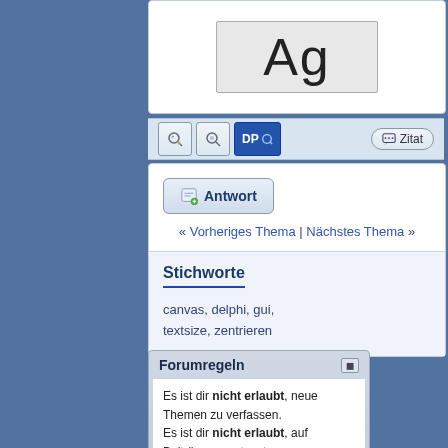[Figure (screenshot): Large 'Ag' text displayed in a light grey box, representing a font preview]
[Figure (screenshot): Forum toolbar with search icon buttons and a 'Zitat' (Quote) button]
Antwort
« Vorheriges Thema | Nächstes Thema »
Stichworte
canvas, delphi, gui, textsize, zentrieren
Forumregeln
Es ist dir nicht erlaubt, neue Themen zu verfassen.
Es ist dir nicht erlaubt, auf Beiträge zu antworten.
Es ist dir nicht erlaubt, Anhänge hochzuladen.
Es ist dir nicht erlaubt, deine Beiträge zu bearbeiten.